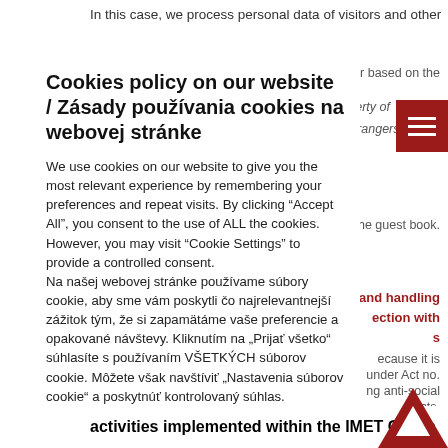In this case, we process personal data of visitors and other
er based on the
he property of
rangers into the
Cookies policy on our website / Zásady používania cookies na webovej stránke
We use cookies on our website to give you the most relevant experience by remembering your preferences and repeat visits. By clicking „Accept All“, you consent to the use of ALL the cookies. However, you may visit “Cookie Settings” to provide a controlled consent.
Na našej webovej stránke používame súbory cookie, aby sme vám poskytli čo najrelevantnejší zážitok tým, že si zapamätáme vaše preferencie a opakované návštevy. Kliknutím na „Prijať všetko“ súhlasíte s používaním VŠETKÝCH súborov cookie. Môžete však navštíviť „Navštíviť „Navstavenia súborov cookie“ a poskytnúť kontrolovaný súhlas.
the guest book.
and handling
ection with
s
ecause it is
under Act no.
ng anti-social
n acts.
ipt date.
rative
activities implemented within the IMET Group